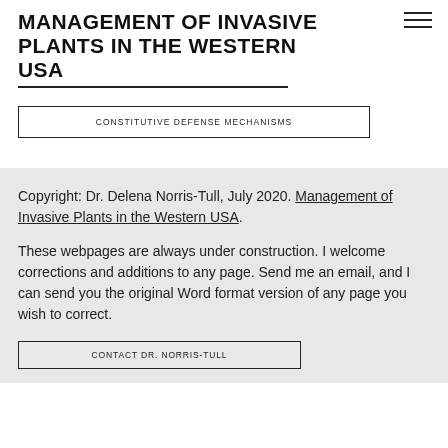MANAGEMENT OF INVASIVE PLANTS IN THE WESTERN USA
CONSTITUTIVE DEFENSE MECHANISMS
Copyright: Dr. Delena Norris-Tull, July 2020. Management of Invasive Plants in the Western USA.
These webpages are always under construction. I welcome corrections and additions to any page. Send me an email, and I can send you the original Word format version of any page you wish to correct.
CONTACT DR. NORRIS-TULL